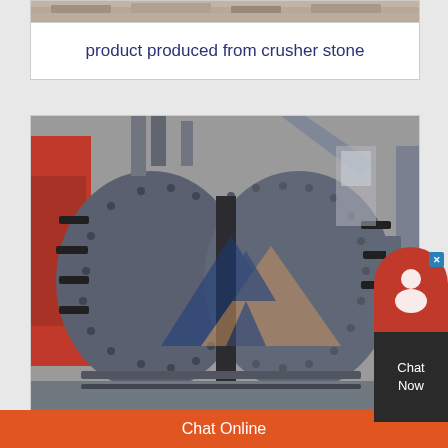[Figure (photo): Top partial image of stone/gravel or rocky terrain, cropped at top of page]
product produced from crusher stone
[Figure (photo): Industrial stone crusher machine, large grey metal crushing equipment with rotating drum and bolted plates, photographed in a factory/workshop setting with red machinery visible on the left. A logo watermark with mountain/triangle shapes is overlaid on the image.]
rental sewa mobile chrusing
Chat Online
Chat Now